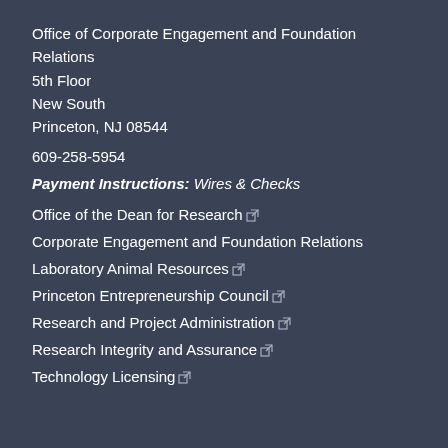Office of Corporate Engagement and Foundation Relations
5th Floor
New South
Princeton, NJ 08544
609-258-5954
Payment Instructions: Wires & Checks
Office of the Dean for Research
Corporate Engagement and Foundation Relations
Laboratory Animal Resources
Princeton Entrepreneurship Council
Research and Project Administration
Research Integrity and Assurance
Technology Licensing